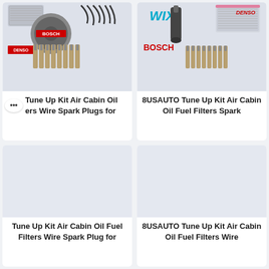[Figure (photo): Tune Up Kit product image showing Bosch oil filter, ignition wires, Denso label, and 8 spark plugs arranged on white background]
Tune Up Kit Air Cabin Oil ••• ers Wire Spark Plugs for
[Figure (photo): 8USAUTO Tune Up Kit product image showing WIX fuel injector, Denso cabin filter, Bosch label, and 8 spark plugs]
8USAUTO Tune Up Kit Air Cabin Oil Fuel Filters Spark
[Figure (photo): Tune Up Kit Air Cabin Oil Fuel Filters Wire Spark Plug product image, blank/loading area]
Tune Up Kit Air Cabin Oil Fuel Filters Wire Spark Plug for
[Figure (photo): 8USAUTO Tune Up Kit Air Cabin Oil Fuel Filters Wire product image, blank/loading area]
8USAUTO Tune Up Kit Air Cabin Oil Fuel Filters Wire